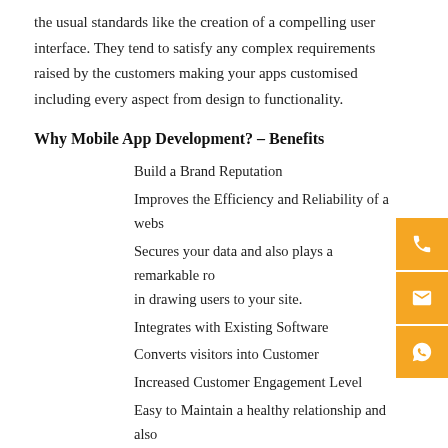the usual standards like the creation of a compelling user interface. They tend to satisfy any complex requirements raised by the customers making your apps customised including every aspect from design to functionality.
Why Mobile App Development? – Benefits
Build a Brand Reputation
Improves the Efficiency and Reliability of a webs
Secures your data and also plays a remarkable ro in drawing users to your site.
Integrates with Existing Software
Converts visitors into Customer
Increased Customer Engagement Level
Easy to Maintain a healthy relationship and also